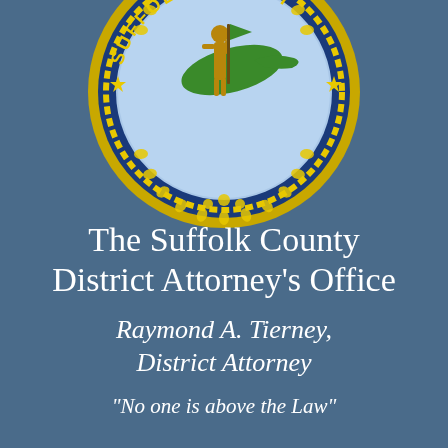[Figure (logo): Suffolk County seal/logo — circular seal with navy blue outer ring bearing gold text 'SUFFOLK COUNTY' and decorative gold laurel wreath border, light blue inner circle containing a standing figure holding a green flag, with a green map of Long Island in the background, and two gold stars on either side]
The Suffolk County District Attorney's Office
Raymond A. Tierney, District Attorney
"No one is above the Law"